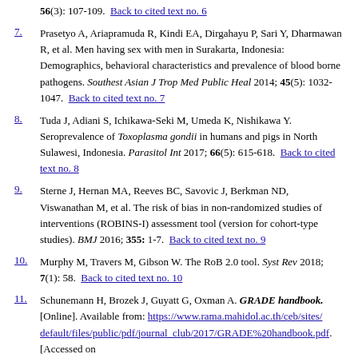56(3): 107-109.  Back to cited text no. 6
7. Prasetyo A, Ariapramuda R, Kindi EA, Dirgahayu P, Sari Y, Dharmawan R, et al. Men having sex with men in Surakarta, Indonesia: Demographics, behavioral characteristics and prevalence of blood borne pathogens. Southest Asian J Trop Med Public Heal 2014; 45(5): 1032-1047. Back to cited text no. 7
8. Tuda J, Adiani S, Ichikawa-Seki M, Umeda K, Nishikawa Y. Seroprevalence of Toxoplasma gondii in humans and pigs in North Sulawesi, Indonesia. Parasitol Int 2017; 66(5): 615-618. Back to cited text no. 8
9. Sterne J, Hernan MA, Reeves BC, Savovic J, Berkman ND, Viswanathan M, et al. The risk of bias in non-randomized studies of interventions (ROBINS-I) assessment tool (version for cohort-type studies). BMJ 2016; 355: 1-7. Back to cited text no. 9
10. Murphy M, Travers M, Gibson W. The RoB 2.0 tool. Syst Rev 2018; 7(1): 58. Back to cited text no. 10
11. Schunemann H, Brozek J, Guyatt G, Oxman A. GRADE handbook. [Online]. Available from: https://www.rama.mahidol.ac.th/ceb/sites/default/files/public/pdf/journal_club/2017/GRADE%20handbook.pdf. [Accessed on